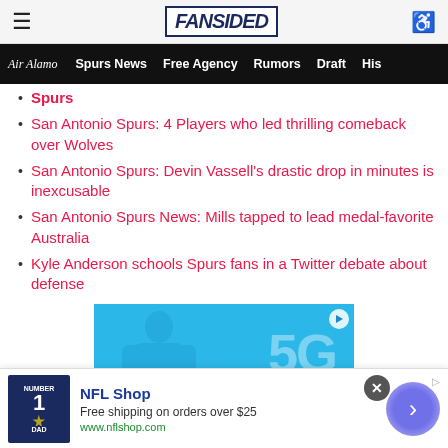FanSided
Air Alamo  Spurs News  Free Agency  Rumors  Draft  His…
Spurs
San Antonio Spurs: 4 Players who led thrilling comeback over Wolves
San Antonio Spurs: Devin Vassell's drastic drop in minutes is inexcusable
San Antonio Spurs News: Mills tapped to lead medal-favorite Australia
Kyle Anderson schools Spurs fans in a Twitter debate about defense
[Figure (photo): 5G advertisement banner with blue background showing a figure and large '5G' text]
[Figure (photo): NFL Shop advertisement showing a Dallas Cowboys jersey, text 'NFL Shop', 'Free shipping on orders over $25', 'www.nflshop.com', with navigation arrow button]